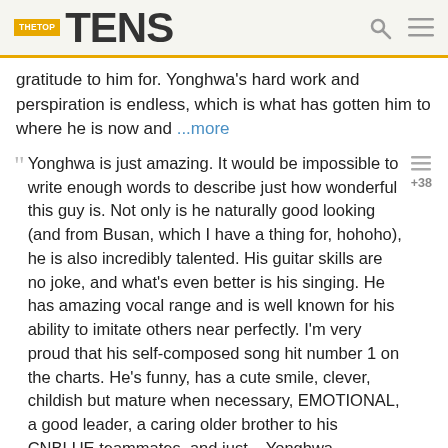THE TOP TENS
gratitude to him for. Yonghwa's hard work and perspiration is endless, which is what has gotten him to where he is now and ...more
Yonghwa is just amazing. It would be impossible to write enough words to describe just how wonderful this guy is. Not only is he naturally good looking (and from Busan, which I have a thing for, hohoho), he is also incredibly talented. His guitar skills are no joke, and what's even better is his singing. He has amazing vocal range and is well known for his ability to imitate others near perfectly. I'm very proud that his self-composed song hit number 1 on the charts. He's funny, has a cute smile, clever, childish but mature when necessary, EMOTIONAL, a good leader, a caring older brother to his CNBLUE teammates, and just... Yonghwa.
He is an inspiration to a lot of people not just his fans. He works hard in everything and excels in all of it. The top choices is the best all the....